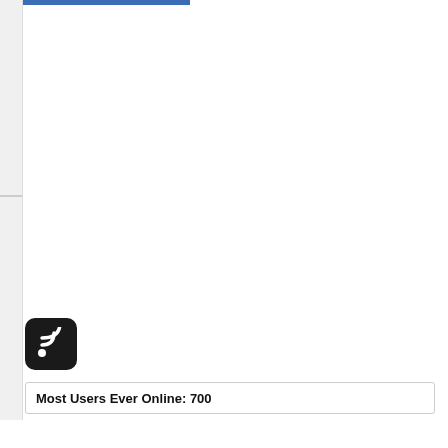[Figure (logo): RSS feed icon — black rounded square with white RSS signal waves]
Most Users Ever Online: 700